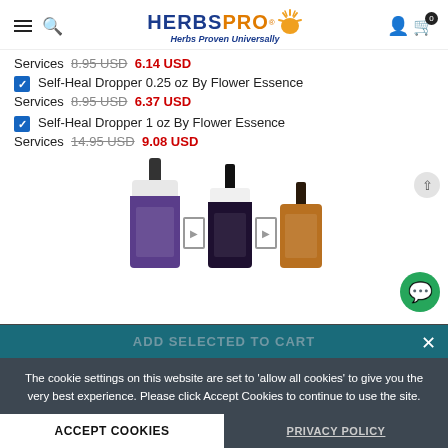[Figure (screenshot): HerbsPro website header with logo, hamburger menu, search, user and cart icons]
Services 8.95 USD 6.14 USD
Self-Heal Dropper 0.25 oz By Flower Essence Services 8.95 USD 6.37 USD
Self-Heal Dropper 1 oz By Flower Essence Services 14.95 USD 9.08 USD
[Figure (photo): Three dropper bottles of Self-Heal flower essence products with navigation arrows between them]
The cookie settings on this website are set to 'allow all cookies' to give you the very best experience. Please click Accept Cookies to continue to use the site.
ADD SELECTED TO CART
ACCEPT COOKIES
PRIVACY POLICY